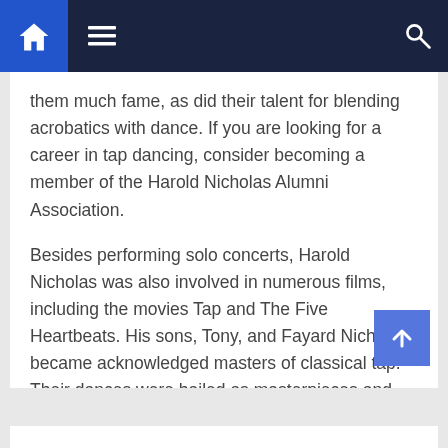Navigation bar with home, menu, and search icons
them much fame, as did their talent for blending acrobatics with dance. If you are looking for a career in tap dancing, consider becoming a member of the Harold Nicholas Alumni Association.
Besides performing solo concerts, Harold Nicholas was also involved in numerous films, including the movies Tap and The Five Heartbeats. His sons, Tony, and Fayard Nicholas became acknowledged masters of classical tap. Their dances were hailed as masterpieces and have inspired generations of tap dancers. So, it is no surprise that his dancers are celebrated today. So, take a moment to remember the legacy of this legendary dancer.